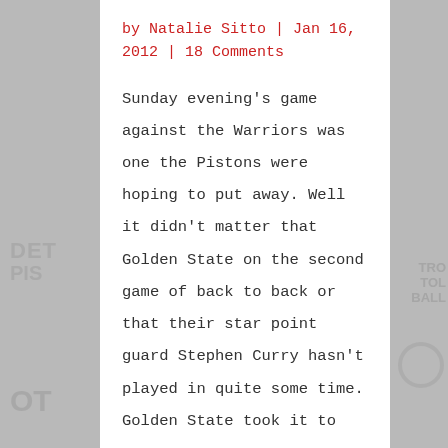by Natalie Sitto | Jan 16, 2012 | 18 Comments
Sunday evening's game against the Warriors was one the Pistons were hoping to put away. Well it didn't matter that Golden State on the second game of back to back or that their star point guard Stephen Curry hasn't played in quite some time. Golden State took it to